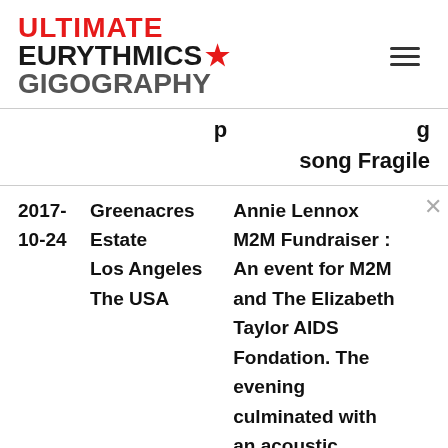ULTIMATE EURYTHMICS★ GIGOGRAPHY
p g
song Fragile
| Date | Venue | Event/Notes |
| --- | --- | --- |
| 2017-10-24 | Greenacres Estate
Los Angeles
The USA | Annie Lennox M2M Fundraiser : An event for M2M and The Elizabeth Taylor AIDS Fondation. The evening culminated with an acoustic performance by longtime m2m... |